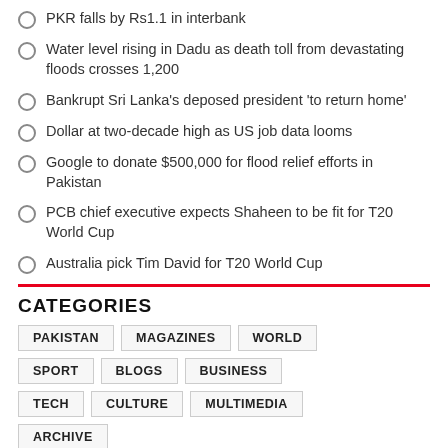PKR falls by Rs1.1 in interbank
Water level rising in Dadu as death toll from devastating floods crosses 1,200
Bankrupt Sri Lanka's deposed president 'to return home'
Dollar at two-decade high as US job data looms
Google to donate $500,000 for flood relief efforts in Pakistan
PCB chief executive expects Shaheen to be fit for T20 World Cup
Australia pick Tim David for T20 World Cup
CATEGORIES
PAKISTAN MAGAZINES WORLD SPORT BLOGS BUSINESS TECH CULTURE MULTIMEDIA ARCHIVE
LAST SEARCHES: